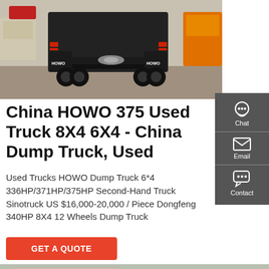[Figure (photo): Rear view of a HOWO dump truck/tractor unit in a yard. 'HOWO' lettering visible on rear mud flaps. Several other vehicles visible in background.]
China HOWO 375 Used Truck 8X4 6X4 - China Dump Truck, Used
Used Trucks HOWO Dump Truck 6*4 336HP/371HP/375HP Second-Hand Truck Sinotruck US $16,000-20,000 / Piece Dongfeng 340HP 8X4 12 Wheels Dump Truck
[Figure (other): Side panel with Chat, Email, and Contact icons on dark gray background]
GET A QUOTE
[Figure (photo): Partial view of a building with Chinese characters and a green tent/canopy visible at bottom of page]